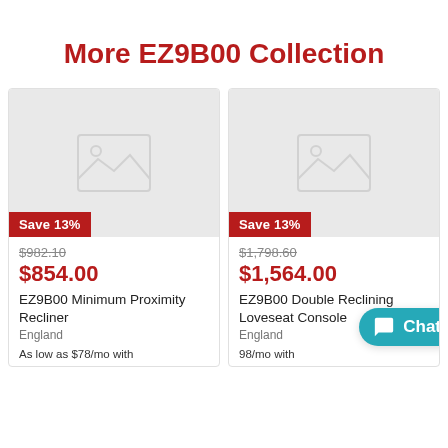More EZ9B00 Collection
[Figure (photo): Product image placeholder for EZ9B00 Minimum Proximity Recliner with 'Save 13%' badge]
$982.10
$854.00
EZ9B00 Minimum Proximity Recliner
England
As low as $78/mo with
[Figure (photo): Product image placeholder for EZ9B00 Double Reclining Loveseat Console with 'Save 13%' badge]
$1,798.60
$1,564.00
EZ9B00 Double Reclining Loveseat Console
England
98/mo with